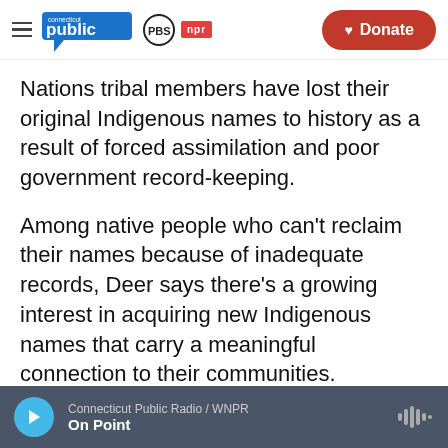Connecticut Public | PBS | NPR — Donate
Nations tribal members have lost their original Indigenous names to history as a result of forced assimilation and poor government record-keeping.
Among native people who can't reclaim their names because of inadequate records, Deer says there's a growing interest in acquiring new Indigenous names that carry a meaningful connection to their communities.
"Many are actually not reclaiming a lost
Connecticut Public Radio / WNPR — On Point